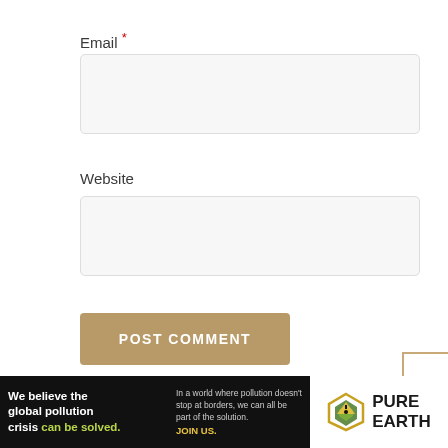Email *
[Figure (screenshot): Empty email input text field with light gray background and rounded border]
Website
[Figure (screenshot): Empty website input text field with light gray background and rounded border]
[Figure (screenshot): POST COMMENT button with tan/gold background color]
[Figure (infographic): Pure Earth advertisement banner: black left section with text 'We believe the global pollution crisis can be solved.' and right white section with Pure Earth logo and diamond icon]